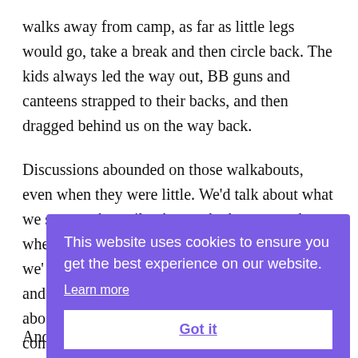walks away from camp, as far as little legs would go, take a break and then circle back. The kids always led the way out, BB guns and canteens strapped to their backs, and then dragged behind us on the way back.
Discussions abounded on those walkabouts, even when they were little. We'd talk about what we saw on the trail, what we had to eat, and where we were going nex… we'… and… abo… con… mu…
[Figure (screenshot): Cookie consent overlay banner with purple background. Text reads: 'This website uses cookies to ensure you get the best experience on our website.' with a 'Learn more' underlined link, and a white button with bold underlined text 'Got it'.]
And the time together is never wasted.